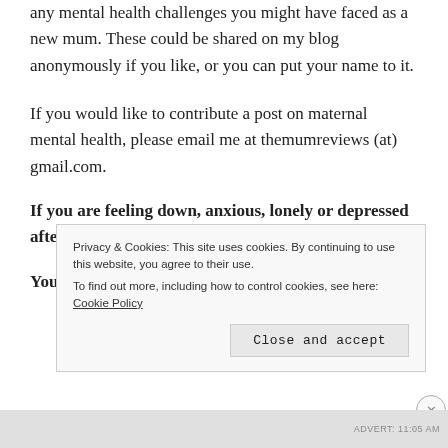any mental health challenges you might have faced as a new mum. These could be shared on my blog anonymously if you like, or you can put your name to it.
If you would like to contribute a post on maternal mental health, please email me at themumreviews (at) gmail.com.
If you are feeling down, anxious, lonely or depressed after having a baby, you are not alone.
You can find support and information
Privacy & Cookies: This site uses cookies. By continuing to use this website, you agree to their use.
To find out more, including how to control cookies, see here: Cookie Policy